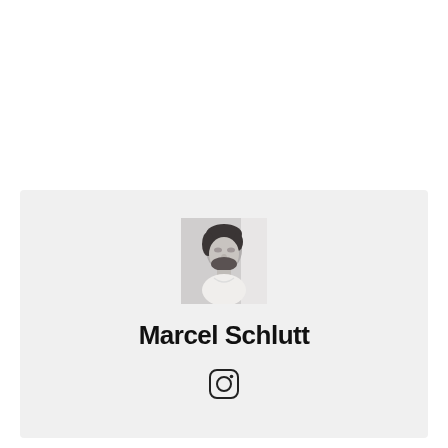[Figure (photo): Black and white profile photo of a man with dark hair and beard, looking downward, wearing a white t-shirt]
Marcel Schlutt
[Figure (logo): Instagram logo icon (camera outline with circle and small circle in corner)]